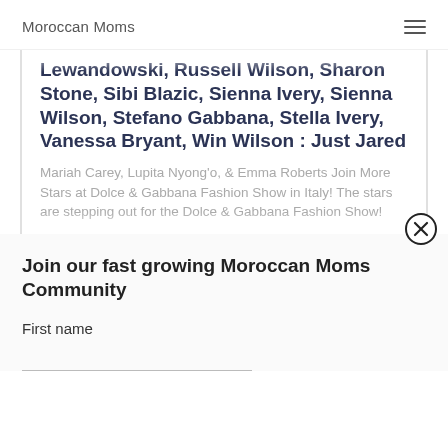Moroccan Moms
Lewandowski, Russell Wilson, Sharon Stone, Sibi Blazic, Sienna Ivery, Sienna Wilson, Stefano Gabbana, Stella Ivery, Vanessa Bryant, Win Wilson : Just Jared
Mariah Carey, Lupita Nyong'o, & Emma Roberts Join More Stars at Dolce & Gabbana Fashion Show in Italy! The stars are stepping out for the Dolce & Gabbana Fashion Show!
Join our fast growing Moroccan Moms Community
First name